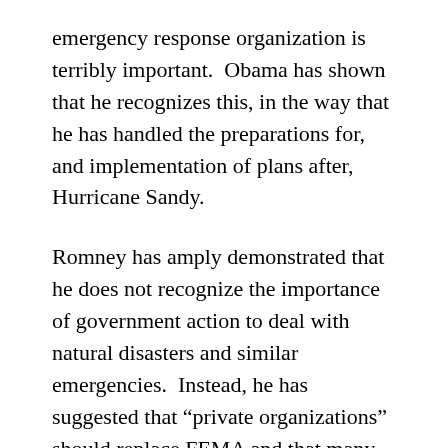emergency response organization is terribly important.  Obama has shown that he recognizes this, in the way that he has handled the preparations for, and implementation of plans after, Hurricane Sandy.
Romney has amply demonstrated that he does not recognize the importance of government action to deal with natural disasters and similar emergencies.  Instead, he has suggested that “private organizations” should replace FEMA and that many other similar federal agencies should be squeezed down or even squeezed out.  Even in the lead-up to Sandy’s east coast strike, Romney was assisting with a gathering of canned goods and praising